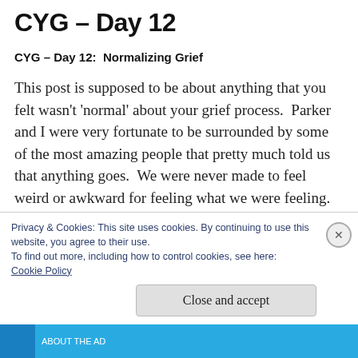CYG – Day 12
CYG – Day 12:  Normalizing Grief
This post is supposed to be about anything that you felt wasn't 'normal' about your grief process.  Parker and I were very fortunate to be surrounded by some of the most amazing people that pretty much told us that anything goes.  We were never made to feel weird or awkward for feeling what we were feeling.  We
Privacy & Cookies: This site uses cookies. By continuing to use this website, you agree to their use.
To find out more, including how to control cookies, see here:
Cookie Policy
Close and accept